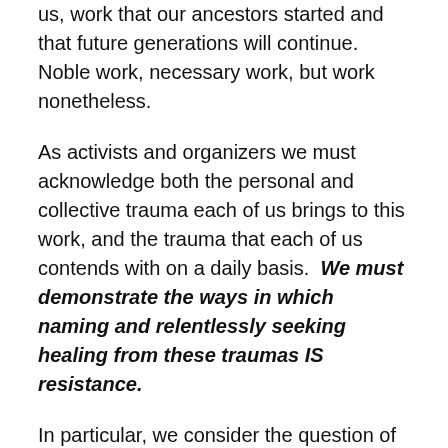us, work that our ancestors started and that future generations will continue. Noble work, necessary work, but work nonetheless.
As activists and organizers we must acknowledge both the personal and collective trauma each of us brings to this work, and the trauma that each of us contends with on a daily basis.  We must demonstrate the ways in which naming and relentlessly seeking healing from these traumas IS resistance.
In particular, we consider the question of the recently proposed Women's March on Washington: will we go? We believe it is important that those of us